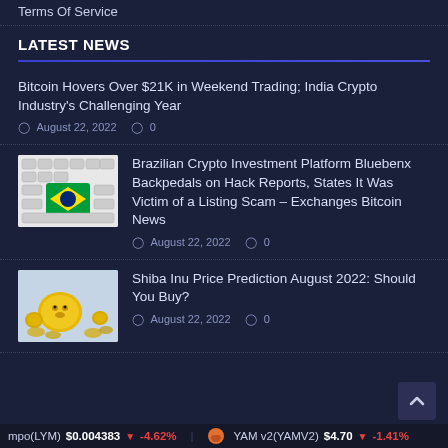Terms Of Service
LATEST NEWS
Bitcoin Hovers Over $21K in Weekend Trading; India Crypto Industry's Challenging Year
 August 22, 2022  0
Brazilian Crypto Investment Platform Bluebenx Backpedals on Hack Reports, States It Was Victim of a Listing Scam – Exchanges Bitcoin News
 August 22, 2022  0
Shiba Inu Price Prediction August 2022: Should You Buy?
 August 22, 2022  0
mpo(LYM) $0.004383 ↓ -4.62%   YAM v2(YAMV2) $4.70 ↓ -1.41%